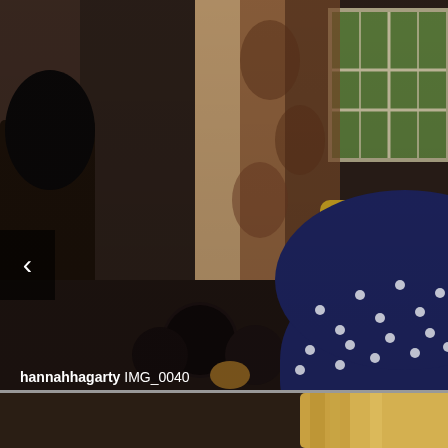[Figure (photo): Indoor photo of a child in a navy blue hat/cap with white polka dots and a yellow shirt, wearing a red watch/bracelet. A person with dark hair is visible on the left. Background shows a room with patterned curtains, a window showing greenery outside, and some dark round objects on the floor. Low lighting.]
hannahhagarty IMG_0040
[Figure (photo): Partial photo at the bottom showing a person with blonde hair, warm-toned indoor background.]